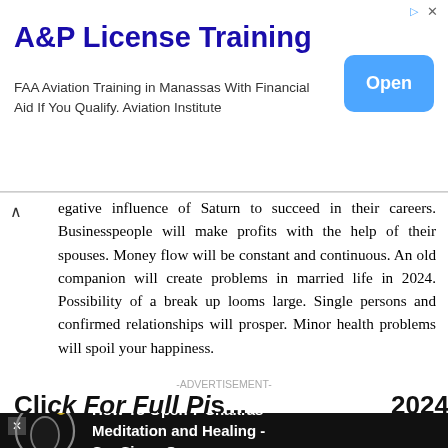[Figure (screenshot): Advertisement banner: A&P License Training. FAA Aviation Training in Manassas With Financial Aid If You Qualify. Aviation Institute. Blue 'Open' button on right.]
egative influence of Saturn to succeed in their careers. Businesspeople will make profits with the help of their spouses. Money flow will be constant and continuous. An old companion will create problems in married life in 2024. Possibility of a break up looms large. Single persons and confirmed relationships will prosper. Minor health problems will spoil your happiness.
-ADVERTISEMENT-
[Figure (screenshot): Partially visible section heading: 'Click For Full Pis... 2024']
[Figure (screenshot): Dark video overlay with circular icon and white text: 'How To Open 7 Chakras - Meditation and Healing - SunSigns.Org']
Numerology Horoscopes 2024
Lo...
Ras...
[Figure (screenshot): BitLife advertisement banner with rainbow gradient background: 'WHEN REAL LIFE IS QUARANTINED' with cartoon characters]